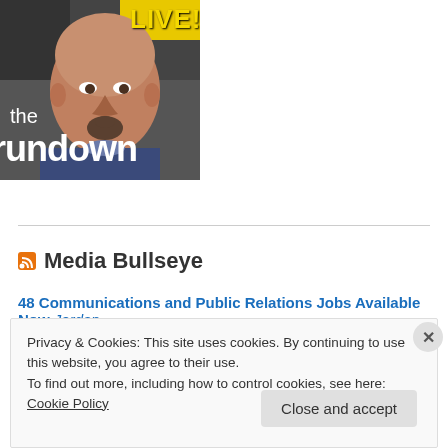[Figure (photo): Screenshot of a webpage showing a thumbnail image of a bald man with a goatee, with text overlay 'LIVE!' in yellow and 'the rundown' in white at bottom. Background is dark/urban setting.]
Media Bullseye
48 Communications and Public Relations Jobs Available Now Jordan
Privacy & Cookies: This site uses cookies. By continuing to use this website, you agree to their use.
To find out more, including how to control cookies, see here: Cookie Policy
Close and accept